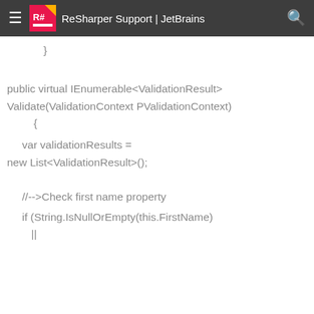ReSharper Support | JetBrains
}

public virtual IEnumerable<ValidationResult> Validate(ValidationContext PValidationContext)
{

    var validationResults =
new List<ValidationResult>();



    //-->Check first name property

    if (String.IsNullOrEmpty(this.FirstName)
        ||